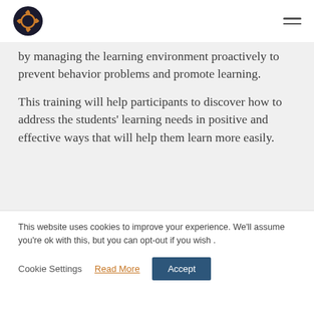[Logo: gear icon in dark circle] [Hamburger menu icon]
by managing the learning environment proactively to prevent behavior problems and promote learning.
This training will help participants to discover how to address the students’ learning needs in positive and effective ways that will help them learn more easily.
This website uses cookies to improve your experience. We’ll assume you’re ok with this, but you can opt-out if you wish .
Cookie Settings   Read More   Accept